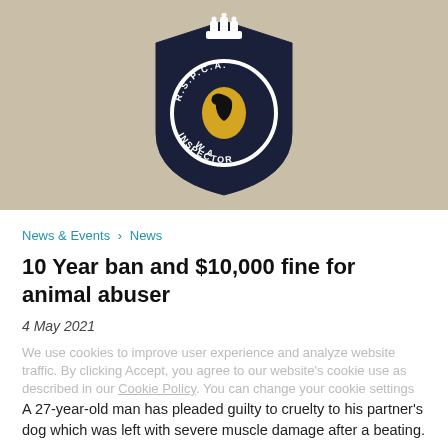[Figure (photo): RSPCA WA Inspector badge/emblem on a tan/khaki background. Black shield-shaped badge with a circular design bearing the text R.S.P.C.A. W.A. INSPECTOR and a swan emblem in the center, with a crown at the top.]
News & Events > News
10 Year ban and $10,000 fine for animal abuser
4 May 2021
We use cookies to improve user experience and analyze website traffic. By clicking Accept, you agree to our website's cookie use as described in our Cookie Policy. You can change your cookie settings
A 27-year-old man has pleaded guilty to cruelty to his partner's dog which was left with severe muscle damage after a beating.